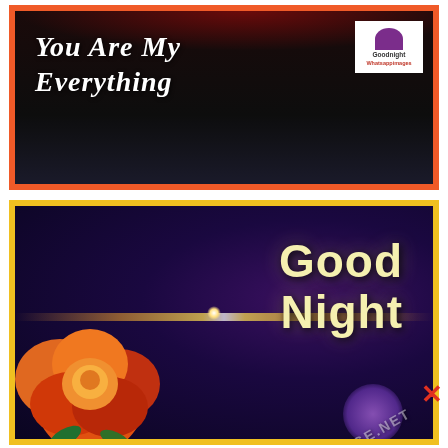[Figure (photo): Romantic greeting card image with dark background, red roses/hearts, cursive text 'You Are My Everything' in white italic script, and a 'Goodnight Whatsapp Images' logo watermark in top right corner. Orange/red border frame.]
[Figure (photo): Good Night greeting card with dark purple/navy background, a colorful orange-red rose in the lower left, lens flare light effect, bold yellow-cream text 'Good Night' in center-right, and a watermark reading 'HTIMAGE.NET'. Yellow/golden border frame. Red X button visible on right edge.]